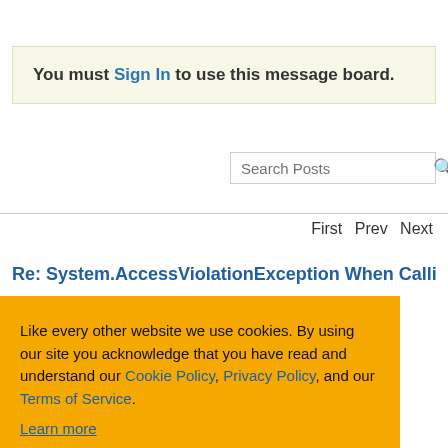You must Sign In to use this message board.
Search Posts
First  Prev  Next
Re: System.AccessViolationException When Calling
When Calling
Like every other website we use cookies. By using our site you acknowledge that you have read and understand our Cookie Policy, Privacy Policy, and our Terms of Service. Learn more
Ask me later  Decline  Allow cookies